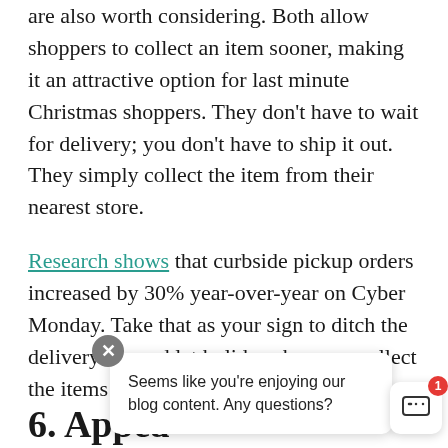are also worth considering. Both allow shoppers to collect an item sooner, making it an attractive option for last minute Christmas shoppers. They don't have to wait for delivery; you don't have to ship it out. They simply collect the item from their nearest store.
Research shows that curbside pickup orders increased by 30% year-over-year on Cyber Monday. Take that as your sign to ditch the delivery fee and let holiday shoppers collect the items on their terms.
6. Appea
Seems like you're enjoying our blog content. Any questions?